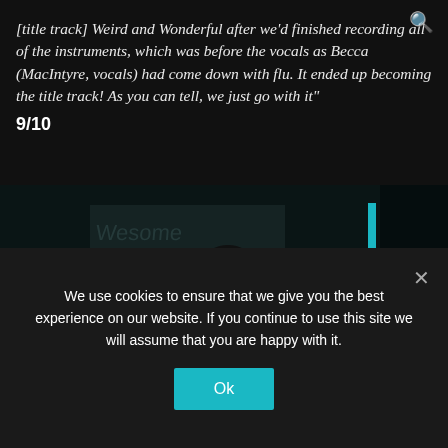[title track] Weird and Wonderful after we'd finished recording all of the instruments, which was before the vocals as Becca (MacIntyre, vocals) had come down with flu. It ended up becoming the title track! As you can tell, we just go with it"
9/10
[Figure (photo): Dark grayscale/teal-tinted photo of a person with long hair playing guitar, viewed from behind, with notes/papers on wall in background and framed pictures. A blue vertical bar accent on the right side.]
We use cookies to ensure that we give you the best experience on our website. If you continue to use this site we will assume that you are happy with it.